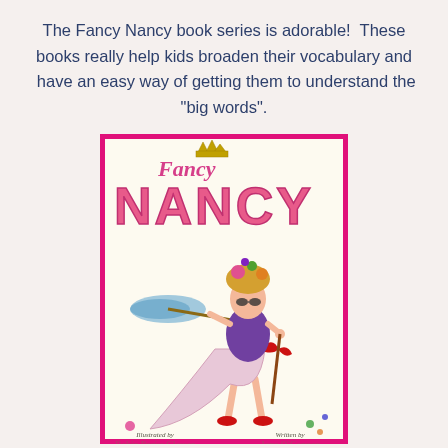The Fancy Nancy book series is adorable!  These books really help kids broaden their vocabulary and  have an easy way of getting them to understand the "big words".
[Figure (illustration): Book cover of 'Fancy Nancy' showing a girl dressed in fancy clothes with an elaborate hat, holding a feather duster, with a pink border. Illustrated by Robin Preiss Glasser, Written by Jane O'Connor.]